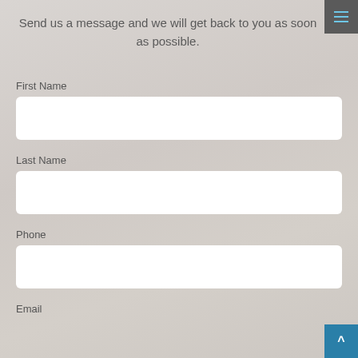Send us a message and we will get back to you as soon as possible.
First Name
Last Name
Phone
Email